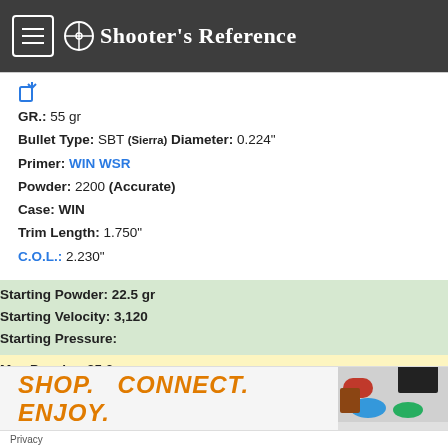Shooter's Reference
GR.: 55 gr
Bullet Type: SBT (Sierra) Diameter: 0.224"
Primer: WIN WSR
Powder: 2200 (Accurate)
Case: WIN
Trim Length: 1.750"
C.O.L.: 2.230"
Starting Powder: 22.5 gr
Starting Velocity: 3,120
Starting Pressure:
Max Powder: 25.0 gr
[Figure (infographic): Advertisement banner with text SHOP. CONNECT. ENJOY. in orange italic bold font with product images on the right side.]
Privacy